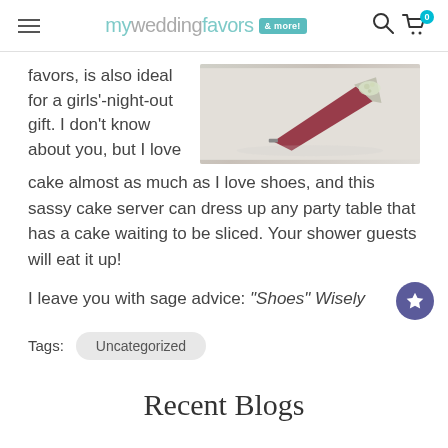myweddingfavors & more!
favors, is also ideal for a girls'-night-out gift. I don't know about you, but I love cake almost as much as I love shoes, and this sassy cake server can dress up any party table that has a cake waiting to be sliced. Your shower guests will eat it up!
[Figure (photo): Close-up photo of a decorative cake server with floral embellishments on a white background]
I leave you with sage advice: "Shoes" Wisely
Tags: Uncategorized
Recent Blogs